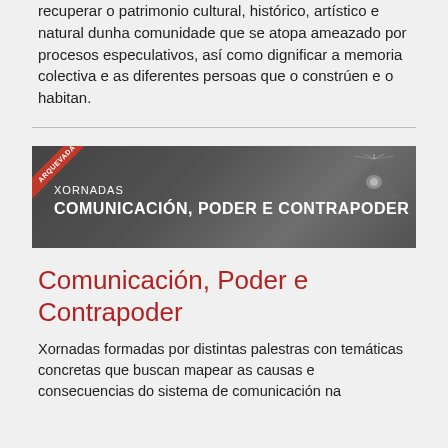recuperar o patrimonio cultural, histórico, artístico e natural dunha comunidade que se atopa ameazado por procesos especulativos, así como dignificar a memoria colectiva e as diferentes persoas que o constrúen e o habitan.
[Figure (illustration): Dark banner image with pyramid and eye graphic, red ribbon labeled 'ARQUEVADA', text reads 'XORNADAS COMUNICACIÓN, PODER e CONTRAPODER']
Comunicación, Poder e Contrapoder
Xornadas formadas por distintas palestras con temáticas concretas que buscan mapear as causas e consecuencias do sistema de comunicación na